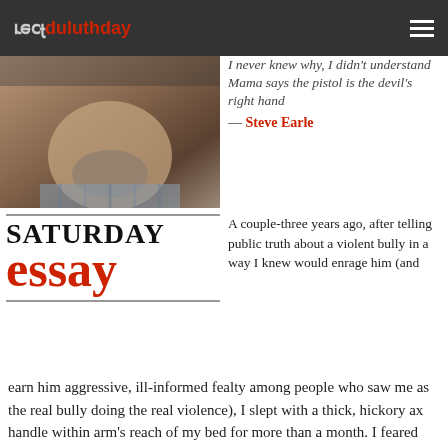perfectduluthday
[Figure (photo): Close-up photo of a man from chin to shoulders wearing a plaid shirt, looking downward with a beard]
I never knew why, I didn't understand
Mama says the pistol is the devil's right hand
— Steve Earle
SATURDAY essay
A couple-three years ago, after telling public truth about a violent bully in a way I knew would enrage him (and earn him aggressive, ill-informed fealty among people who saw me as the real bully doing the real violence), I slept with a thick, hickory ax handle within arm's reach of my bed for more than a month. I feared violent retribution. I thought I had